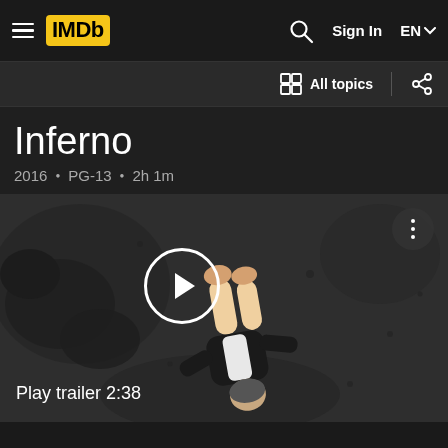IMDb | Sign In | EN
All topics
Inferno
2016 · PG-13 · 2h 1m
[Figure (screenshot): Movie trailer thumbnail showing a man in a tuxedo falling, viewed from above, with a play button overlay. Caption reads Play trailer 2:38]
Play trailer 2:38